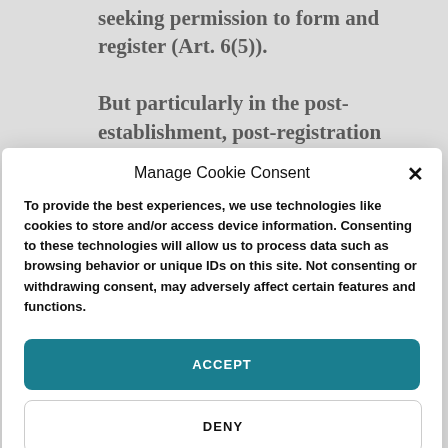seeking permission to form and register (Art. 6(5)).
But particularly in the post-establishment, post-registration phases of organizations, the lines of authority between the Ministry of
Manage Cookie Consent
To provide the best experiences, we use technologies like cookies to store and/or access device information. Consenting to these technologies will allow us to process data such as browsing behavior or unique IDs on this site. Not consenting or withdrawing consent, may adversely affect certain features and functions.
ACCEPT
DENY
Privacy Policy & Terms of Use